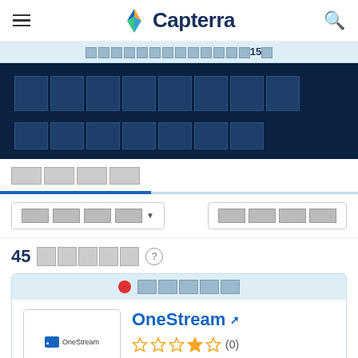Capterra
□□□□□□□□□□□□15□
□□□□□□□□
□□□□□□□
□□□□ ▼
□□□□
45□□□□ ?
● □□□□□
OneStream
☆☆☆☆☆ (0)